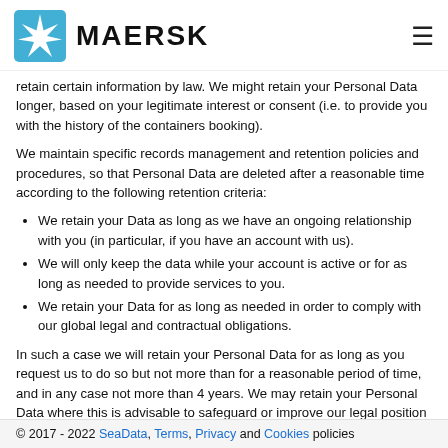MAERSK
retain certain information by law. We might retain your Personal Data longer, based on your legitimate interest or consent (i.e. to provide you with the history of the containers booking).
We maintain specific records management and retention policies and procedures, so that Personal Data are deleted after a reasonable time according to the following retention criteria:
We retain your Data as long as we have an ongoing relationship with you (in particular, if you have an account with us).
We will only keep the data while your account is active or for as long as needed to provide services to you.
We retain your Data for as long as needed in order to comply with our global legal and contractual obligations.
In such a case we will retain your Personal Data for as long as you request us to do so but not more than for a reasonable period of time, and in any case not more than 4 years. We may retain your Personal Data where this is advisable to safeguard or improve our legal position (for instance in relation to statutes of limitations, litigation, or regulatory investigations).
We delete or anonymize your Personal Data when it is no longer needed for the purposes for which it was collected and subsequently processed
© 2017 - 2022 SeaData, Terms, Privacy and Cookies policies